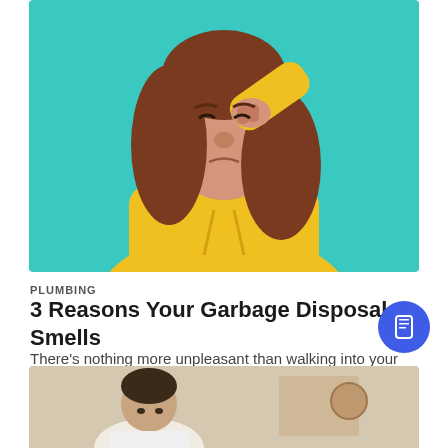[Figure (photo): Woman in yellow hoodie pinching her nose with a disgusted expression, set against a teal/turquoise background]
PLUMBING
3 Reasons Your Garbage Disposal Smells
There's nothing more unpleasant than walking into your kitchen and being hit with the lingering smell of last week's food scraps. Your...
[Figure (photo): Partial image of a man looking down, in a kitchen setting, cropped at bottom of page]